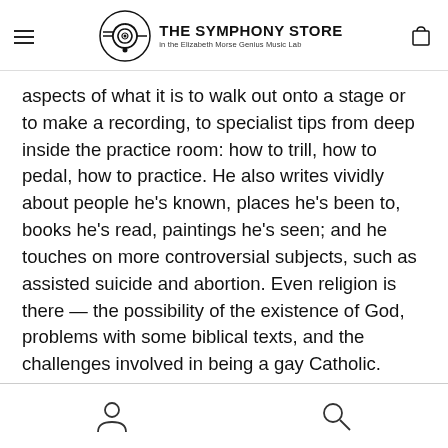THE SYMPHONY STORE in the Elizabeth Morse Genius Music Lab
aspects of what it is to walk out onto a stage or to make a recording, to specialist tips from deep inside the practice room: how to trill, how to pedal, how to practice. He also writes vividly about people he's known, places he's been to, books he's read, paintings he's seen; and he touches on more controversial subjects, such as assisted suicide and abortion. Even religion is there — the possibility of the existence of God, problems with some biblical texts, and the challenges involved in being a gay Catholic.